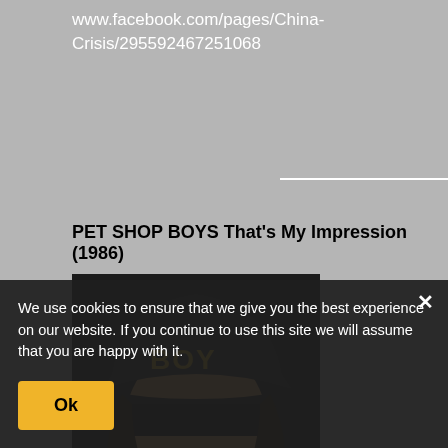www.facebook.com/pages/China-Crisis/295592467251068
PET SHOP BOYS That's My Impression (1986)
[Figure (photo): Person wearing a dark cap with 'BOY' written in gold letters, face partially obscured by a dark band across the eyes, with long hair, wearing a dark jacket. Text at bottom reads 'love come quickly']
We use cookies to ensure that we give you the best experience on our website. If you continue to use this site we will assume that you are happy with it.
while and not just a fl... 'That's My Impression' was menacing as opposed to melancholic, combining SOFT CELL with... Neil Tennant's final angry refrain of "I went looking for someone I couldn't find
Ok